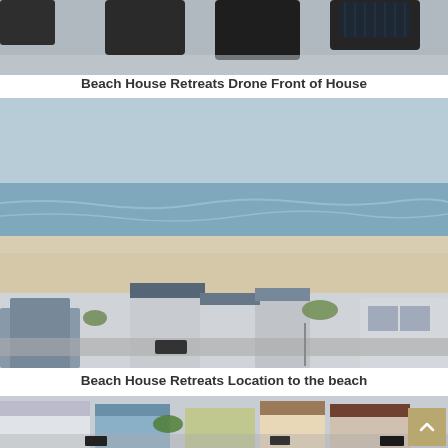[Figure (photo): Aerial drone photo of the front of Beach House Retreats, showing cars parked in front of the building from above.]
Beach House Retreats Drone Front of House
[Figure (photo): Aerial drone photo showing Beach House Retreats location relative to the beach, with ocean, sandy beach, houses, and streets visible.]
Beach House Retreats Location to the beach
[Figure (photo): Aerial drone photo showing Beach House Retreats neighborhood with houses, driveways, parked cars, and landscaping, partially cropped at page bottom.]